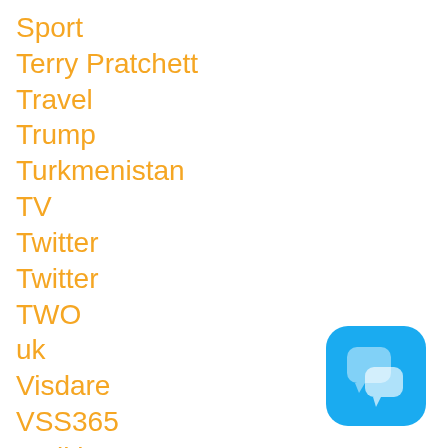Sport
Terry Pratchett
Travel
Trump
Turkmenistan
TV
Twitter
Twitter
TWO
uk
Visdare
VSS365
Walking
Website
Wedding
Webbly
[Figure (logo): Blue rounded square icon with two overlapping chat bubble shapes in lighter blue/white]